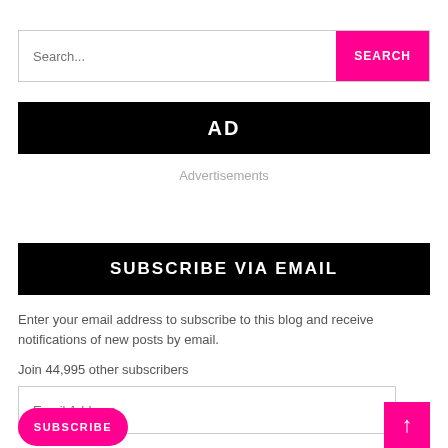Search...
AD
Advertisements
SUBSCRIBE VIA EMAIL
Enter your email address to subscribe to this blog and receive notifications of new posts by email.
Join 44,995 other subscribers
Email Address
SUBSCRIBE